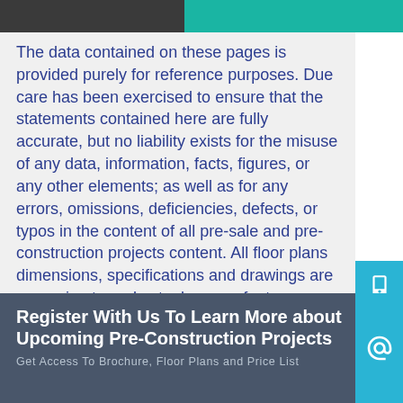The data contained on these pages is provided purely for reference purposes. Due care has been exercised to ensure that the statements contained here are fully accurate, but no liability exists for the misuse of any data, information, facts, figures, or any other elements; as well as for any errors, omissions, deficiencies, defects, or typos in the content of all pre-sale and pre-construction projects content. All floor plans dimensions, specifications and drawings are approximate and actual square footage may vary from the stated floor plan. The operators of these web pages do not directly represent the builders. E&OE.
Register With Us To Learn More about Upcoming Pre-Construction Projects
Get Access To Brochure, Floor Plans and Price List